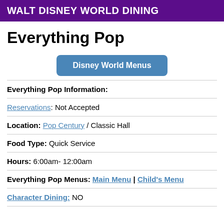WALT DISNEY WORLD DINING
Everything Pop
Disney World Menus
Everything Pop Information:
Reservations: Not Accepted
Location: Pop Century / Classic Hall
Food Type: Quick Service
Hours: 6:00am- 12:00am
Everything Pop Menus: Main Menu | Child's Menu
Character Dining: NO